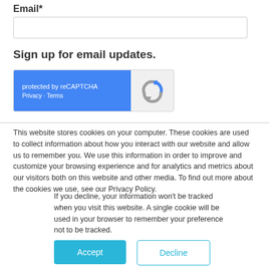Email*
Sign up for email updates.
[Figure (other): reCAPTCHA widget with blue left panel showing 'protected by reCAPTCHA' and 'Privacy · Terms', and a right panel with the reCAPTCHA logo]
This website stores cookies on your computer. These cookies are used to collect information about how you interact with our website and allow us to remember you. We use this information in order to improve and customize your browsing experience and for analytics and metrics about our visitors both on this website and other media. To find out more about the cookies we use, see our Privacy Policy.
If you decline, your information won't be tracked when you visit this website. A single cookie will be used in your browser to remember your preference not to be tracked.
Accept
Decline